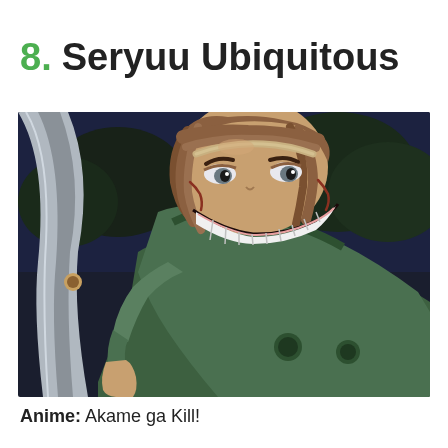8. Seryuu Ubiquitous
[Figure (illustration): Anime screenshot of Seryuu Ubiquitous from Akame ga Kill!, showing a character with brown hair, wearing a green outfit, displaying a wide menacing grin with sharp teeth, against a dark nighttime outdoor background.]
Anime: Akame ga Kill!